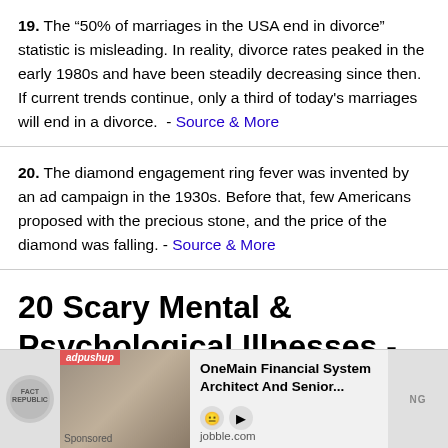19. The “50% of marriages in the USA end in divorce” statistic is misleading. In reality, divorce rates peaked in the early 1980s and have been steadily decreasing since then. If current trends continue, only a third of today's marriages will end in a divorce. - Source & More
20. The diamond engagement ring fever was invented by an ad campaign in the 1930s. Before that, few Americans proposed with the precious stone, and the price of the diamond was falling. - Source & More
20 Scary Mental & Psychological Illnesses - Part 1
[Figure (screenshot): Advertisement banner with adpushup branding showing OneMain Financial System Architect And Senior... job listing from jobble.com with a sponsored label]